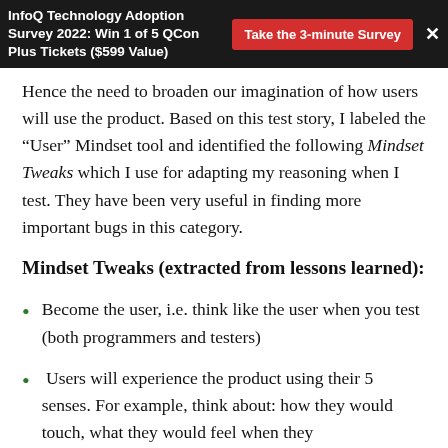InfoQ Technology Adoption Survey 2022: Win 1 of 5 QCon Plus Tickets ($599 Value)
Hence the need to broaden our imagination of how users will use the product. Based on this test story, I labeled the “User” Mindset tool and identified the following Mindset Tweaks which I use for adapting my reasoning when I test. They have been very useful in finding more important bugs in this category.
Mindset Tweaks (extracted from lessons learned):
Become the user, i.e. think like the user when you test (both programmers and testers)
Users will experience the product using their 5 senses. For example, think about: how they would touch, what they would feel when they